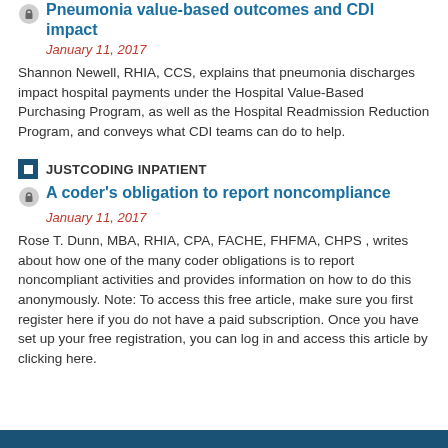Pneumonia value-based outcomes and CDI impact
January 11, 2017
Shannon Newell, RHIA, CCS, explains that pneumonia discharges impact hospital payments under the Hospital Value-Based Purchasing Program, as well as the Hospital Readmission Reduction Program, and conveys what CDI teams can do to help.
JUSTCODING INPATIENT
A coder’s obligation to report noncompliance
January 11, 2017
Rose T. Dunn, MBA, RHIA, CPA, FACHE, FHFMA, CHPS , writes about how one of the many coder obligations is to report noncompliant activities and provides information on how to do this anonymously. Note: To access this free article, make sure you first register here if you do not have a paid subscription. Once you have set up your free registration, you can log in and access this article by clicking here.